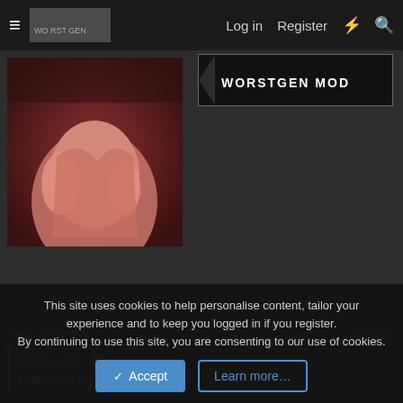≡  [logo] Log in  Register  ⚡  🔍
[Figure (photo): Forum user avatar showing an anime/illustrated figure in pink/red tones, and a 'WORSTGEN MOD' badge banner]
Sep 13, 2020   #2,988
Noctis said: ↑
I will book my mentors
duh
Reborn said: ↑
I might not know the exact definition but I certainly know what I am
This site uses cookies to help personalise content, tailor your experience and to keep you logged in if you register.
By continuing to use this site, you are consenting to our use of cookies.
✔ Accept   Learn more...